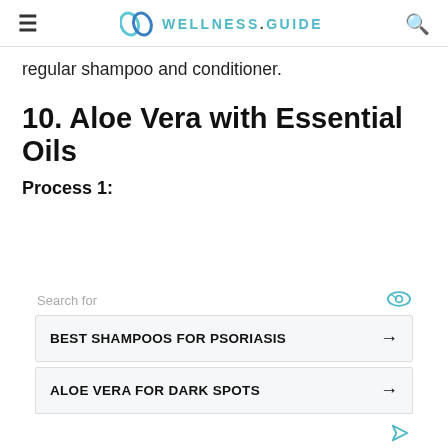≡  WELLNESS.GUIDE  🔍
regular shampoo and conditioner.
10. Aloe Vera with Essential Oils
Process 1:
Search for
BEST SHAMPOOS FOR PSORIASIS
ALOE VERA FOR DARK SPOTS